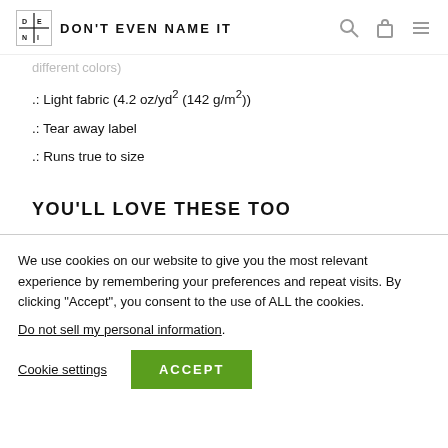DON'T EVEN NAME IT
.: different colors)
.: Light fabric (4.2 oz/yd² (142 g/m²))
.: Tear away label
.: Runs true to size
YOU'LL LOVE THESE TOO
We use cookies on our website to give you the most relevant experience by remembering your preferences and repeat visits. By clicking "Accept", you consent to the use of ALL the cookies.
Do not sell my personal information.
Cookie settings   ACCEPT